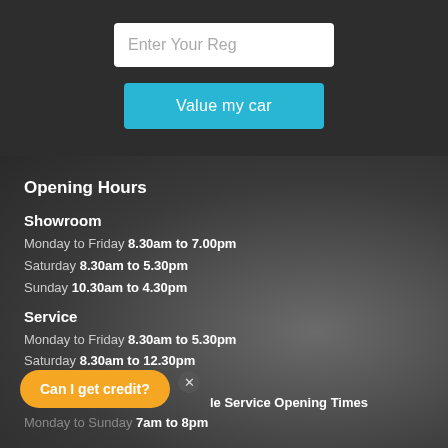Enter Your Reg
Value my car
Opening Hours
Showroom
Monday to Friday 8.30am to 7.00pm
Saturday 8.30am to 5.30pm
Sunday 10.30am to 4.30pm
Service
Monday to Friday 8.30am to 5.30pm
Saturday 8.30am to 12.30pm
Can I get credit?
le Service Opening Times
Monday to Sunday 7am to 8pm